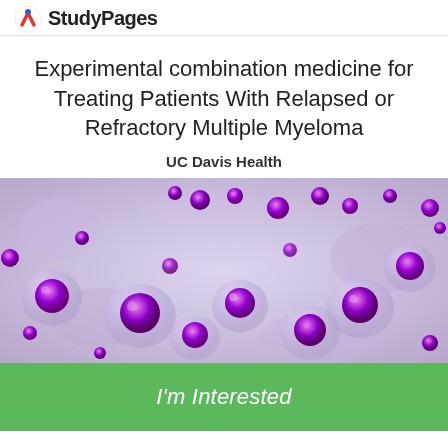StudyPages
Experimental combination medicine for Treating Patients With Relapsed or Refractory Multiple Myeloma
UC Davis Health
[Figure (photo): Microscopic image of multiple myeloma cells stained with purple/violet dye showing large plasma cells with prominent nuclei on a light purple background]
I'm Interested